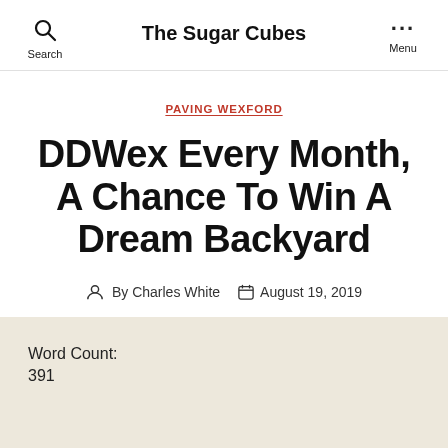Search  The Sugar Cubes  Menu
PAVING WEXFORD
DDWex Every Month, A Chance To Win A Dream Backyard
By Charles White  August 19, 2019
Word Count:
391